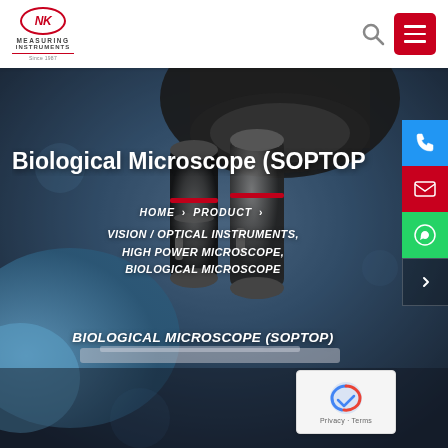NK Measuring Instruments
[Figure (screenshot): Website screenshot showing a biological microscope close-up photo as hero background, with blue/dark tones showing microscope objective lenses with a gloved hand]
Biological Microscope (SOPTOP
HOME > PRODUCT > VISION / OPTICAL INSTRUMENTS, HIGH POWER MICROSCOPE, BIOLOGICAL MICROSCOPE
BIOLOGICAL MICROSCOPE (SOPTOP)